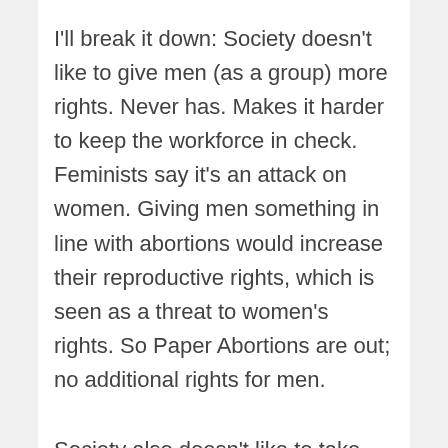I'll break it down: Society doesn't like to give men (as a group) more rights. Never has. Makes it harder to keep the workforce in check. Feminists say it's an attack on women. Giving men something in line with abortions would increase their reproductive rights, which is seen as a threat to women's rights. So Paper Abortions are out; no additional rights for men.
Society also doesn't like to take rights away from women (as a group) (at least not any more; history is a fucked-up place). As feminism has marched on over the last century and into its fourth wave, whatever